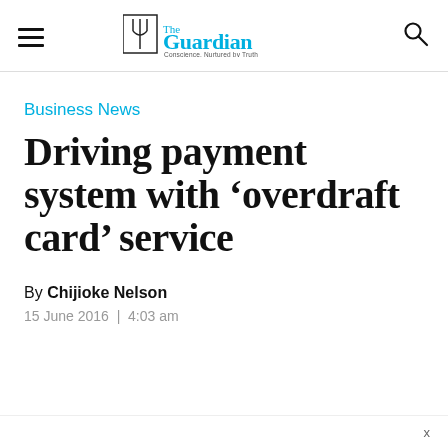The Guardian — Conscience, Nurtured by Truth
Business News
Driving payment system with 'overdraft card' service
By Chijioke Nelson
15 June 2016  |  4:03 am